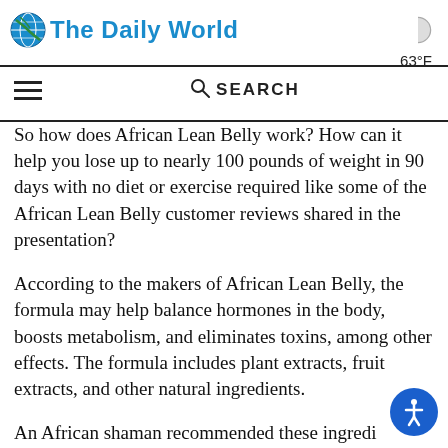The Daily World | 63°F
So how does African Lean Belly work? How can it help you lose up to nearly 100 pounds of weight in 90 days with no diet or exercise required like some of the African Lean Belly customer reviews shared in the presentation?
According to the makers of African Lean Belly, the formula may help balance hormones in the body, boosts metabolism, and eliminates toxins, among other effects. The formula includes plant extracts, fruit extracts, and other natural ingredients.
An African shaman recommended these ingredients as a fast, easy, and effective way to lose weight. Some of the ingredients are found naturally in